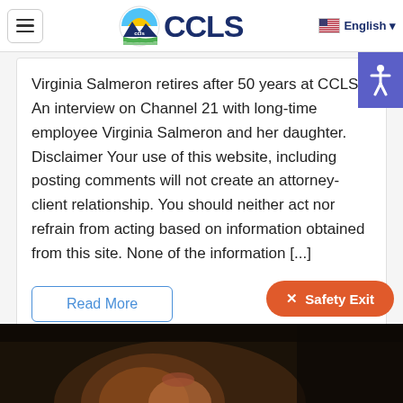CCLS — English
Virginia Salmeron retires after 50 years at CCLS An interview on Channel 21 with long-time employee Virginia Salmeron and her daughter. Disclaimer Your use of this website, including posting comments will not create an attorney-client relationship. You should neither act nor refrain from acting based on information obtained from this site. None of the information [...]
Read More
[Figure (photo): Partial photo of a person, darkly lit, appearing at the bottom of the page]
✕ Safety Exit